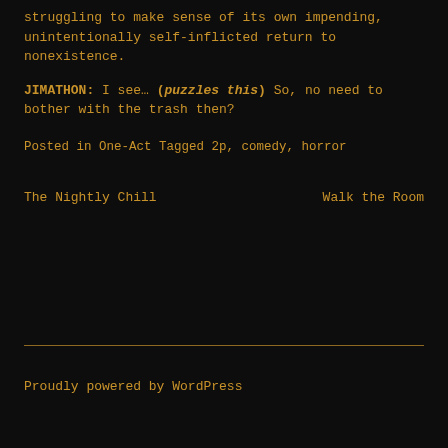struggling to make sense of its own impending, unintentionally self-inflicted return to nonexistence.
JIMATHON: I see… (puzzles this) So, no need to bother with the trash then?
Posted in One-Act Tagged 2p, comedy, horror
The Nightly Chill    Walk the Room
Proudly powered by WordPress